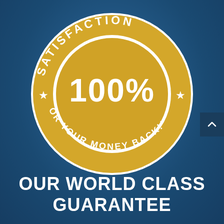[Figure (illustration): A circular gold satisfaction badge/seal on a blue background. The outer ring reads 'SATISFACTION' at the top and 'OR YOUR MONEY BACK!*' at the bottom with two star decorations on the sides. The center shows '100%' in large white block text on a gold background.]
OUR WORLD CLASS GUARANTEE